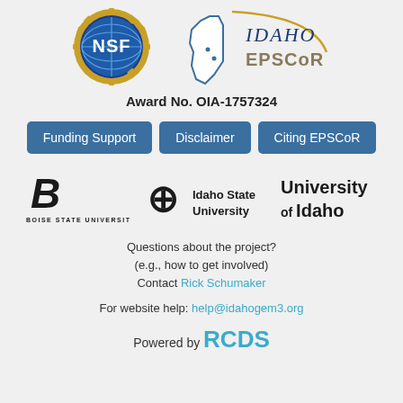[Figure (logo): NSF (National Science Foundation) circular logo with blue globe and gold gear border, and Idaho EPSCoR logo with state outline and stylized text]
Award No. OIA-1757324
Funding Support | Disclaimer | Citing EPSCoR
[Figure (logo): Boise State University logo, Idaho State University logo, University of Idaho logo]
Questions about the project?
(e.g., how to get involved)
Contact Rick Schumaker
For website help: help@idahogem3.org
Powered by RCDS